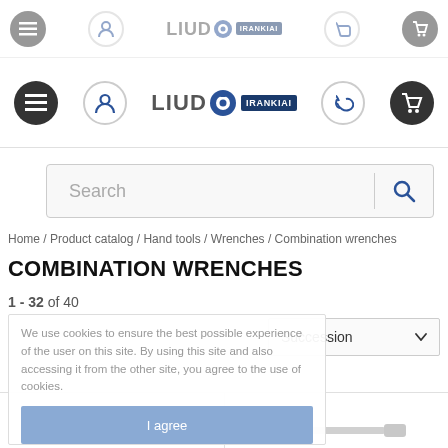[Figure (screenshot): Top faded navigation bar with hamburger menu, user icon, LIUDO IRANKIAI logo, phone icon, and cart icon]
LIUDO IRANKIAI — Navigation header with hamburger, user, phone, and cart icons
[Figure (screenshot): Search bar with placeholder text 'Search' and magnifying glass icon]
Home / Product catalog / Hand tools / Wrenches / Combination wrenches
COMBINATION WRENCHES
1 - 32 of 40
We use cookies to ensure the best possible experience of the user on this site. By using this site and also accessing it from the other site, you agree to the use of cookies.
I agree
Succession
[Figure (photo): Two combination wrenches partially visible at the bottom of the page]